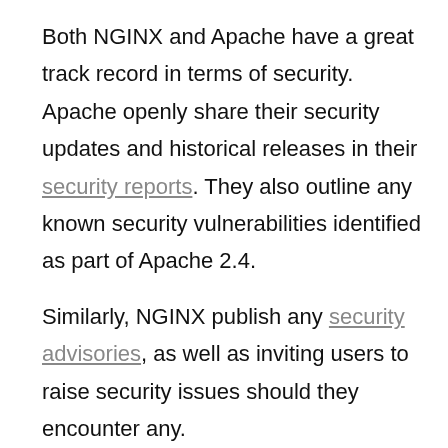Both NGINX and Apache have a great track record in terms of security. Apache openly share their security updates and historical releases in their security reports. They also outline any known security vulnerabilities identified as part of Apache 2.4.
Similarly, NGINX publish any security advisories, as well as inviting users to raise security issues should they encounter any.
Apache and NGINX provider all users with security tips, such as how to deal with DDoS attacks and how to mitigate these. It's safe to say that both web servers are hot on security and don't shy away from